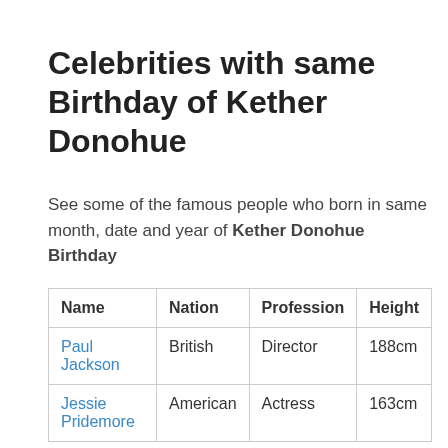Celebrities with same Birthday of Kether Donohue
See some of the famous people who born in same month, date and year of Kether Donohue Birthday
| Name | Nation | Profession | Height |
| --- | --- | --- | --- |
| Paul Jackson | British | Director | 188cm |
| Jessie Pridemore | American | Actress | 163cm |